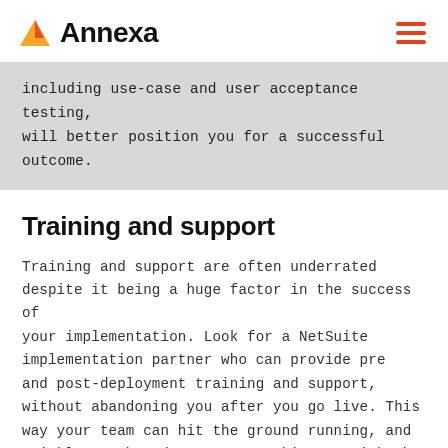Annexa
including use-case and user acceptance testing, will better position you for a successful outcome.
Training and support
Training and support are often underrated despite it being a huge factor in the success of your implementation. Look for a NetSuite implementation partner who can provide pre and post-deployment training and support, without abandoning you after you go live. This way your team can hit the ground running, and quickly catch and correct any hiccups with the